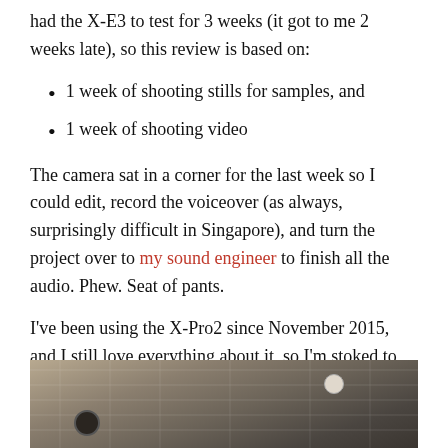had the X-E3 to test for 3 weeks (it got to me 2 weeks late), so this review is based on:
1 week of shooting stills for samples, and
1 week of shooting video
The camera sat in a corner for the last week so I could edit, record the voiceover (as always, surprisingly difficult in Singapore), and turn the project over to my sound engineer to finish all the audio. Phew. Seat of pants.
I've been using the X-Pro2 since November 2015, and I still love everything about it, so I'm stoked to have that same image quality and high ISO capability it in a smaller body. And it is really tiny:
[Figure (photo): Close-up photo of camera body on fabric/textile background, showing buttons and textured surface]